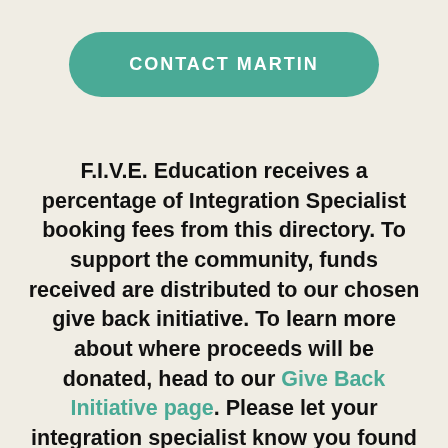[Figure (other): A teal rounded rectangle button with white bold uppercase text reading 'CONTACT MARTIN']
F.I.V.E. Education receives a percentage of Integration Specialist booking fees from this directory. To support the community, funds received are distributed to our chosen give back initiative. To learn more about where proceeds will be donated, head to our Give Back Initiative page. Please let your integration specialist know you found them on F.I.V.E. as a way to help us support the community via our